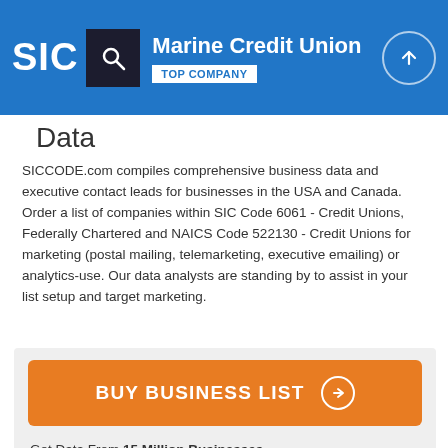SIC | Marine Credit Union | TOP COMPANY
Data
SICCODE.com compiles comprehensive business data and executive contact leads for businesses in the USA and Canada. Order a list of companies within SIC Code 6061 - Credit Unions, Federally Chartered and NAICS Code 522130 - Credit Unions for marketing (postal mailing, telemarketing, executive emailing) or analytics-use. Our data analysts are standing by to assist in your list setup and target marketing.
BUY BUSINESS LIST
Get Data From 15 Million Businesses
Contact 40 Million Executives